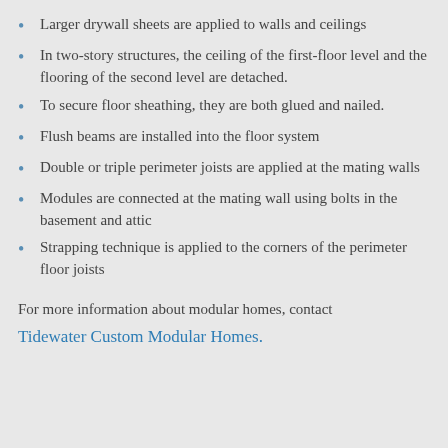Larger drywall sheets are applied to walls and ceilings
In two-story structures, the ceiling of the first-floor level and the flooring of the second level are detached.
To secure floor sheathing, they are both glued and nailed.
Flush beams are installed into the floor system
Double or triple perimeter joists are applied at the mating walls
Modules are connected at the mating wall using bolts in the basement and attic
Strapping technique is applied to the corners of the perimeter floor joists
For more information about modular homes, contact
Tidewater Custom Modular Homes.